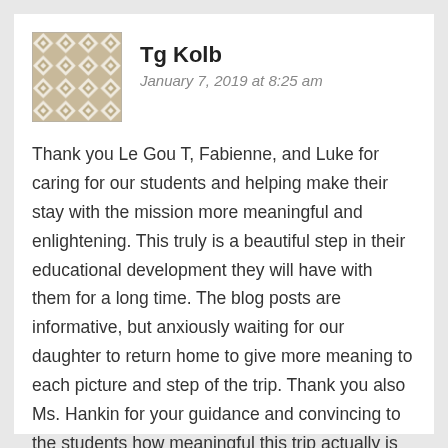[Figure (illustration): Avatar image: a geometric quilt-pattern tile in beige and white diamond shapes]
Tg Kolb
January 7, 2019 at 8:25 am
Thank you Le Gou T, Fabienne, and Luke for caring for our students and helping make their stay with the mission more meaningful and enlightening. This truly is a beautiful step in their educational development they will have with them for a long time. The blog posts are informative, but anxiously waiting for our daughter to return home to give more meaning to each picture and step of the trip. Thank you also Ms. Hankin for your guidance and convincing to the students how meaningful this trip actually is helping in their decision to come along. Safe travels and visits to the